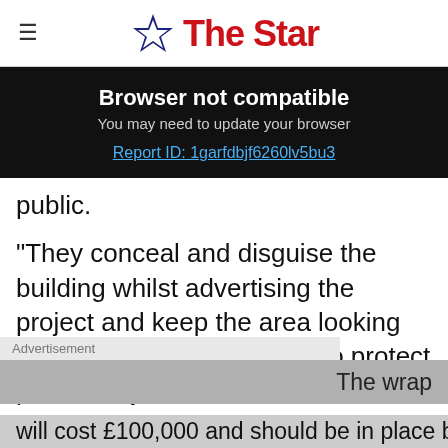The Star
Browser not compatible
You may need to update your browser
Report ID: 1garfdbjf6260lv5bu3
public.
“They conceal and disguise the building whilst advertising the project and keep the area looking bright and vibrant. They also protect passers-by from noise and mess.”
Advertisement
The wrap
will cost £100,000 and should be in place by